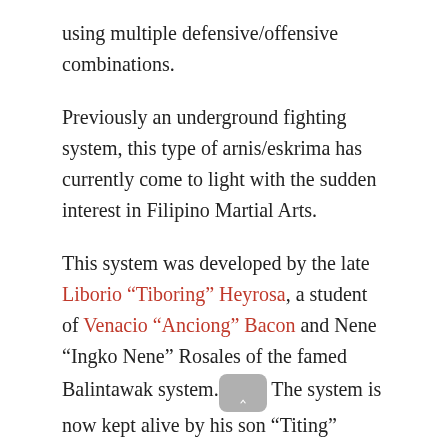using multiple defensive/offensive combinations.
Previously an underground fighting system, this type of arnis/eskrima has currently come to light with the sudden interest in Filipino Martial Arts.
This system was developed by the late Liborio “Tiboring” Heyrosa, a student of Venacio “Anciong” Bacon and Nene “Ingko Nene” Rosales of the famed Balintawak system. The system is now kept alive by his son “Titing”